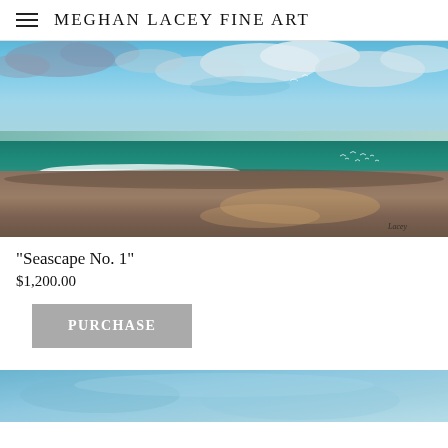MEGHAN LACEY FINE ART
[Figure (photo): A seascape oil painting showing ocean waves rolling onto a sandy beach under a dramatic blue and cloudy sky, with seagulls visible in the distance near the water's edge. Artist signature visible in lower right.]
"Seascape No. 1"
$1,200.00
PURCHASE
[Figure (photo): Partial view of another seascape painting — blue water/sky tones — cropped at bottom of page.]